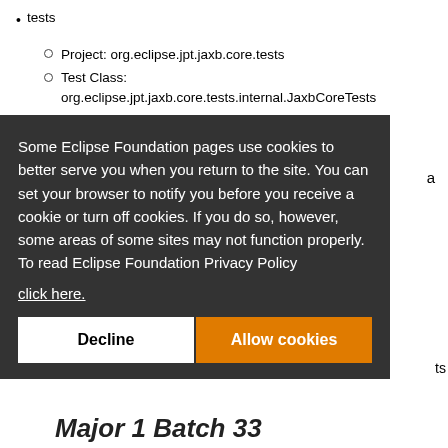tests
Project: org.eclipse.jpt.jaxb.core.tests
Test Class: org.eclipse.jpt.jaxb.core.tests.internal.JaxbCoreTests
On the Arguments tab
Some Eclipse Foundation pages use cookies to better serve you when you return to the site. You can set your browser to notify you before you receive a cookie or turn off cookies. If you do so, however, some areas of some sites may not function properly. To read Eclipse Foundation Privacy Policy click here.
Decline
Allow cookies